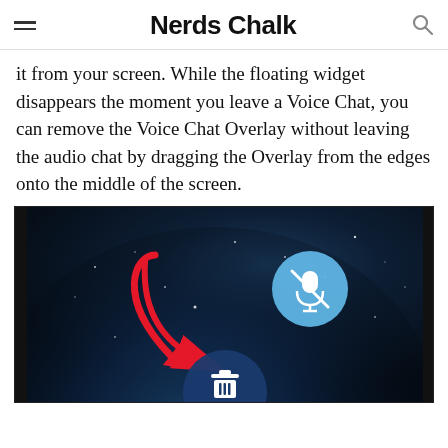Nerds Chalk
it from your screen. While the floating widget disappears the moment you leave a Voice Chat, you can remove the Voice Chat Overlay without leaving the audio chat by dragging the Overlay from the edges onto the middle of the screen.
[Figure (screenshot): Screenshot of a smartphone screen showing an Earth from space wallpaper with a blue circular microphone-off overlay widget and a dark blue trash/delete icon at the bottom center. A red arrow annotation points from the blue mic widget downward to the trash icon, indicating a drag gesture to remove the overlay.]